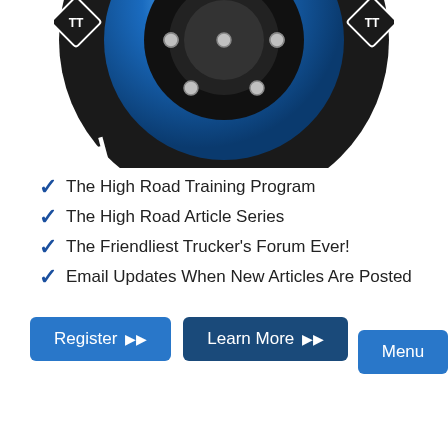[Figure (logo): Truck training wheel logo with 'TRAINING' text along the bottom arc, blue metallic hub with TT diamond logos on sides, bolts around the rim]
The High Road Training Program
The High Road Article Series
The Friendliest Trucker's Forum Ever!
Email Updates When New Articles Are Posted
Register    Learn More    Menu